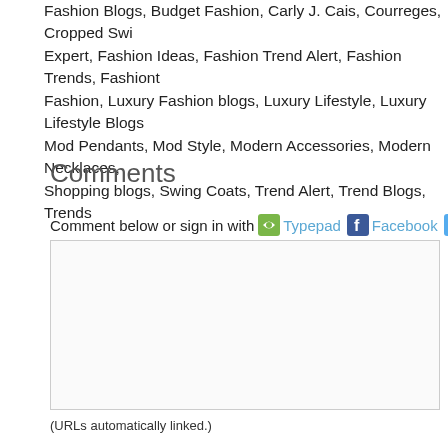Fashion Blogs, Budget Fashion, Carly J. Cais, Courreges, Cropped Swi Expert, Fashion Ideas, Fashion Trend Alert, Fashion Trends, Fashiont Fashion, Luxury Fashion blogs, Luxury Lifestyle, Luxury Lifestyle Blogs Mod Pendants, Mod Style, Modern Accessories, Modern Necklaces, Shopping blogs, Swing Coats, Trend Alert, Trend Blogs, Trends
Comments
Comment below or sign in with Typepad Facebook Twitter
(URLs automatically linked.)
Email address is not displayed with comment.